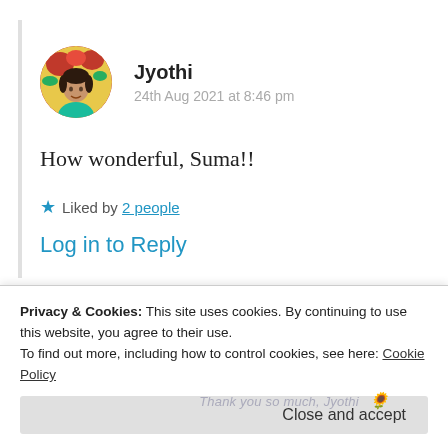[Figure (photo): Circular avatar photo of Jyothi, a woman in a blue top against a background of red and yellow flowers]
Jyothi
24th Aug 2021 at 8:46 pm
How wonderful, Suma!!
★ Liked by 2 people
Log in to Reply
Privacy & Cookies: This site uses cookies. By continuing to use this website, you agree to their use.
To find out more, including how to control cookies, see here: Cookie Policy
Close and accept